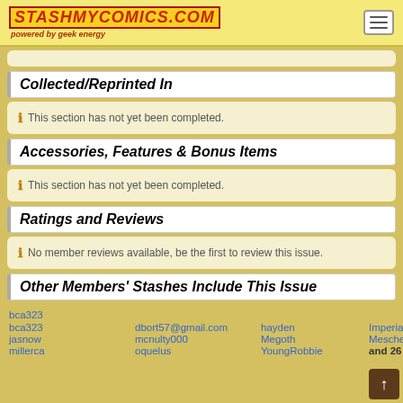StashMyComics.com — powered by geek energy
Collected/Reprinted In
This section has not yet been completed.
Accessories, Features & Bonus Items
This section has not yet been completed.
Ratings and Reviews
No member reviews available, be the first to review this issue.
Other Members' Stashes Include This Issue
bca323
dbort57@gmail.com
hayden
ImperialWalker
jasnow
mcnulty000
Megoth
Meschefske
millerca
oquelus
YoungRobbie
and 26 others